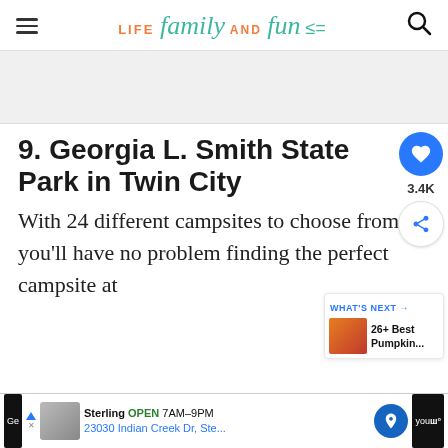LIFE family AND FUN
[Figure (other): Advertisement banner placeholder (gray background)]
9. Georgia L. Smith State Park in Twin City
With 24 different campsites to choose from, you'll have no problem finding the perfect campsite at
[Figure (infographic): Floating UI: heart/save button with 3.4K count and share button]
[Figure (infographic): What's Next widget: 26+ Best Pumpkin... with thumbnail]
Sterling OPEN 7AM–9PM 23030 Indian Creek Dr, Ste...